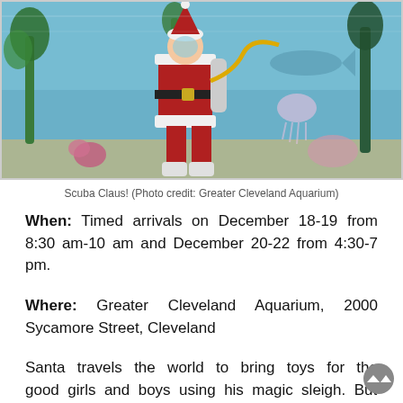[Figure (photo): Underwater photo of a scuba diver dressed as Santa Claus in an aquarium tank with fish, coral, and sea plants visible in the background.]
Scuba Claus! (Photo credit: Greater Cleveland Aquarium)
When: Timed arrivals on December 18-19 from 8:30 am-10 am and December 20-22 from 4:30-7 pm.
Where: Greater Cleveland Aquarium, 2000 Sycamore Street, Cleveland
Santa travels the world to bring toys for the good girls and boys using his magic sleigh. But